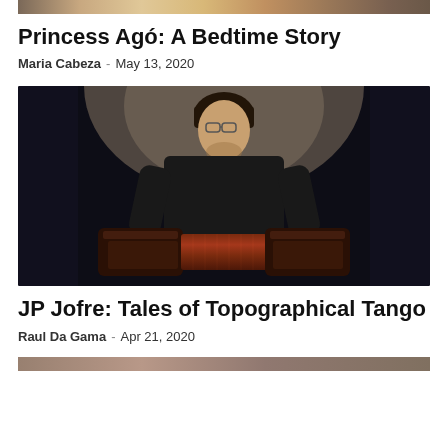[Figure (photo): Top portion of an image cropped at the top of the page, appears to be a colorful/artistic photo partially visible]
Princess Agó: A Bedtime Story
Maria Cabeza  -  May 13, 2020
[Figure (photo): A musician, JP Jofre, playing a bandoneon (tango accordion) on stage against a dark curtain background. He wears glasses and a dark t-shirt.]
JP Jofre: Tales of Topographical Tango
Raul Da Gama  -  Apr 21, 2020
[Figure (photo): Bottom portion of another article image, partially visible at the bottom of the page]